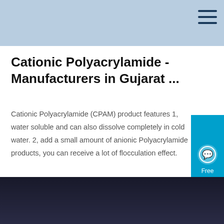Cationic Polyacrylamide - Manufacturers in Gujarat ...
Cationic Polyacrylamide (CPAM) product features 1, water soluble and can also dissolve completely in cold water. 2, add a small amount of anionic Polyacrylamide products, you can receive a lot of flocculation effect.
[Figure (other): Free Chat widget button on the right side]
[Figure (other): Get Price button — dark navy rounded rectangle]
[Figure (other): Scroll-to-top circular blue button with up arrow]
[Figure (photo): Dark image bar at the bottom of the page]